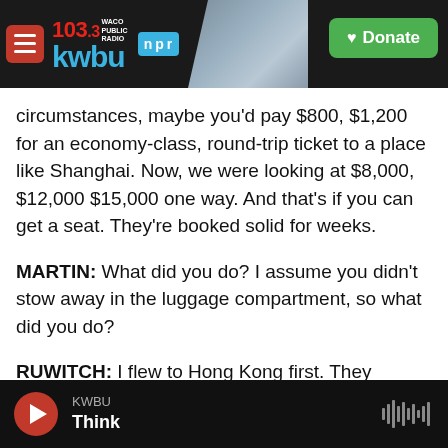[Figure (screenshot): KWBU 103.3 Waco Public Radio NPR website header with Donate button and background photo]
circumstances, maybe you'd pay $800, $1,200 for an economy-class, round-trip ticket to a place like Shanghai. Now, we were looking at $8,000, $12,000 $15,000 one way. And that's if you can get a seat. They're booked solid for weeks.
MARTIN: What did you do? I assume you didn't stow away in the luggage compartment, so what did you do?
RUWITCH: I flew to Hong Kong first. They opened up for the first time in two years to visitors, and I jumped at that. I flew to Hong Kong. And entering
KWBU Think